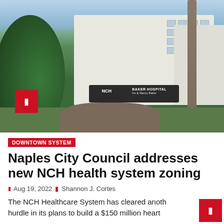[Figure (photo): Exterior photo of NCH Baker Hospital downtown Naples, showing the building entrance with canopy, palm trees, lush tropical trees on the left, a white car in the driveway, and the NCH Baker Hospital sign. A red square badge with a bookmark icon overlays the lower-left area of the photo.]
DOWNTOWN SYSTEM
Naples City Council addresses new NCH health system zoning
Aug 19, 2022   Shannon J. Cortes
The NCH Healthcare System has cleared another hurdle in its plans to build a $150 million heart